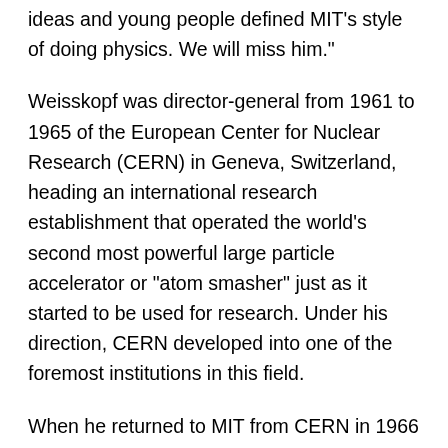ideas and young people defined MIT's style of doing physics. We will miss him."
Weisskopf was director-general from 1961 to 1965 of the European Center for Nuclear Research (CERN) in Geneva, Switzerland, heading an international research establishment that operated the world's second most powerful large particle accelerator or "atom smasher" just as it started to be used for research. Under his direction, CERN developed into one of the foremost institutions in this field.
When he returned to MIT from CERN in 1966 he was given the rank of Institute Professor. From 1967 to 1973, Weisskopf was head of the Department of Physics, where he was a major force in the development of physics research--both through the